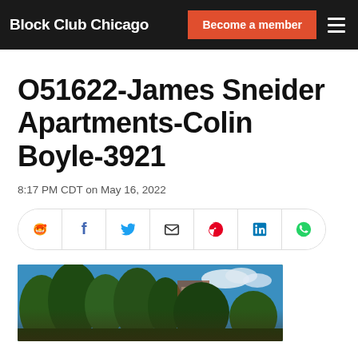Block Club Chicago | Become a member
O51622-James Sneider Apartments-Colin Boyle-3921
8:17 PM CDT on May 16, 2022
[Figure (other): Social share buttons: Reddit, Facebook, Twitter, Email, Pinterest, LinkedIn, WhatsApp]
[Figure (photo): Outdoor photo showing trees and a building with blue sky in background]